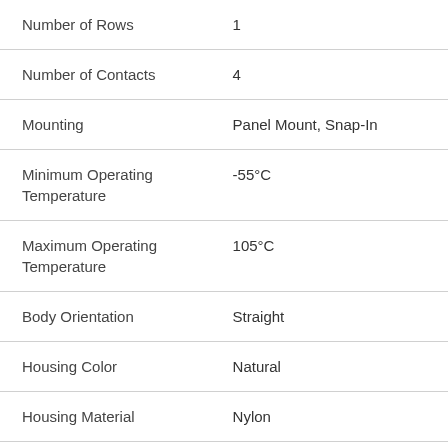| Property | Value |
| --- | --- |
| Number of Rows | 1 |
| Number of Contacts | 4 |
| Mounting | Panel Mount, Snap-In |
| Minimum Operating Temperature | -55°C |
| Maximum Operating Temperature | 105°C |
| Body Orientation | Straight |
| Housing Color | Natural |
| Housing Material | Nylon |
| Current Rating | N/A |
| Voltage Rating | 600 VAC/VDC |
| Maximum Contact | N/A |